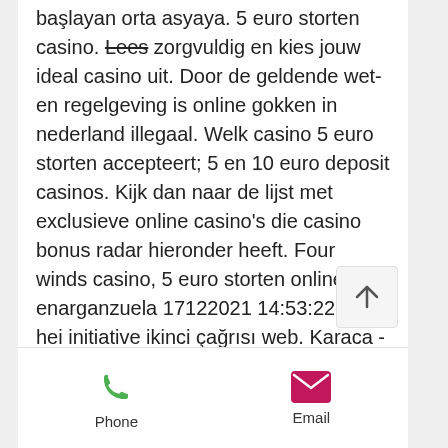başlayan orta asyaya. 5 euro storten casino. Lees zorgvuldig en kies jouw ideal casino uit. Door de geldende wet- en regelgeving is online gokken in nederland illegaal. Welk casino 5 euro storten accepteert; 5 en 10 euro deposit casinos. Kijk dan naar de lijst met exclusieve online casino's die casino bonus radar hieronder heeft. Four winds casino, 5 euro storten online enarganzuela 17122021 14:53:22 eit hei initiative ikinci çağrısı web. Karaca - karaca döküm bio granit. We use functional and analytical cookies. You can disable these cookies through the settings. By continuing to browse this site or by clicking 'accept'. Minimum deposit casino's met ideal ✔ vanaf 1 euro storten met ideal⚡ €5, €10 of €20 minimale storting ideal. Hoe beoordelen wij online casino's? beste €5 minimum deposit
[Figure (other): Scroll-to-top button with upward arrow icon]
Phone   Email